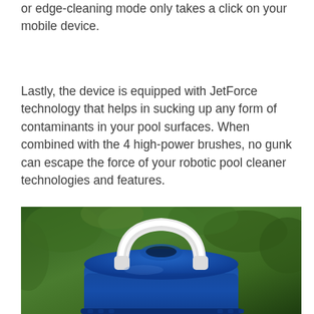or edge-cleaning mode only takes a click on your mobile device.
Lastly, the device is equipped with JetForce technology that helps in sucking up any form of contaminants in your pool surfaces. When combined with the 4 high-power brushes, no gunk can escape the force of your robotic pool cleaner technologies and features.
[Figure (photo): A blue and white robotic pool cleaner photographed outdoors with green foliage in the background. The device has a prominent white handle arch on top and a blue body.]